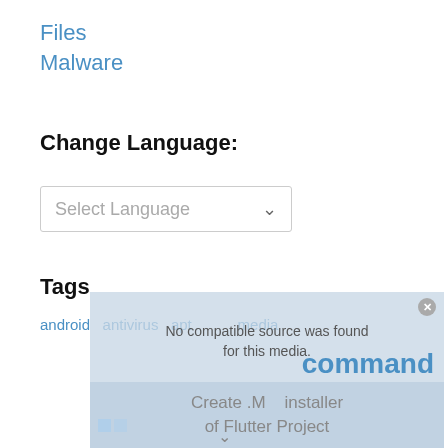Files
Malware
Change Language:
[Figure (screenshot): A dropdown/select box UI element labeled 'Select Language' with a chevron arrow]
Tags
[Figure (screenshot): Video overlay showing 'No compatible source was found for this media.' with a 'command' text link and 'Create .MXX installer of Flutter Project' video title, with close button and Windows icon]